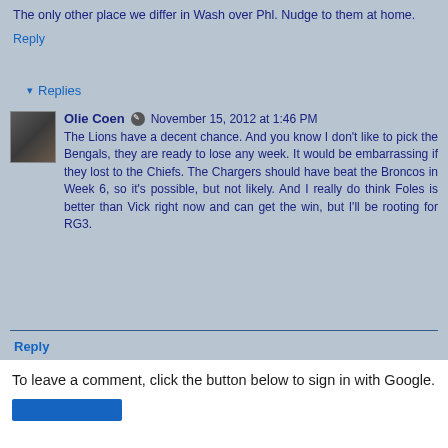The only other place we differ in Wash over Phl. Nudge to them at home.
Reply
▾ Replies
Olie Coen  November 15, 2012 at 1:46 PM
The Lions have a decent chance. And you know I don't like to pick the Bengals, they are ready to lose any week. It would be embarrassing if they lost to the Chiefs. The Chargers should have beat the Broncos in Week 6, so it's possible, but not likely. And I really do think Foles is better than Vick right now and can get the win, but I'll be rooting for RG3.
Reply
To leave a comment, click the button below to sign in with Google.